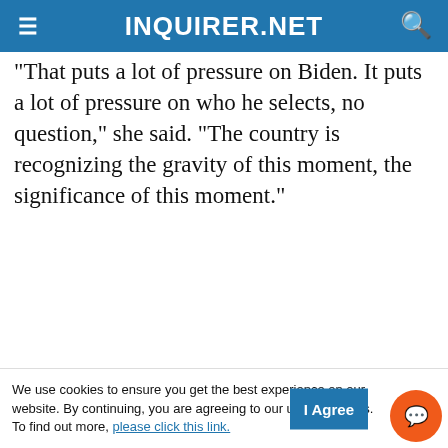INQUIRER.NET
That puts a lot of pressure on Biden. It puts a lot of pressure on who he selects, no question," she said. "The country is recognizing the gravity of this moment, the significance of this moment."
[Figure (screenshot): Video thumbnail showing a man in a light blue t-shirt standing near trucks outdoors, with the caption 'Homeowners in Poland queu...' and view count 557. There is a play button in the top right corner and an INQUIRER.NET logo watermark.]
We use cookies to ensure you get the best experience on our website. By continuing, you are agreeing to our use of cookies. To find out more, please click this link.